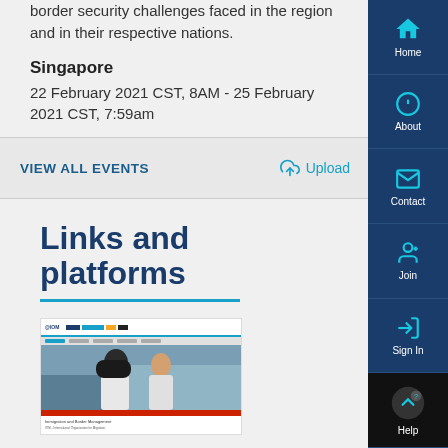border security challenges faced in the region and in their respective nations.
Singapore
22 February 2021 CST, 8AM - 25 February 2021 CST, 7:59am
VIEW ALL EVENTS
Upload
Links and platforms
[Figure (screenshot): Screenshot of IOM website showing immigration and border management content with a photo of two people]